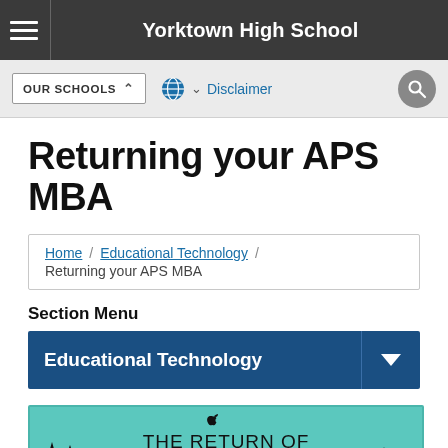Yorktown High School
Returning your APS MBA
Home / Educational Technology / Returning your APS MBA
Section Menu
Educational Technology
[Figure (illustration): Promotional graphic with teal background showing silhouetted trees and text reading 'THE RETURN OF THE MACBOOK AIR' with an Apple logo]